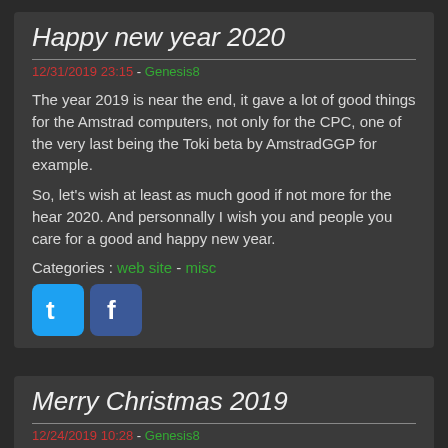Happy new year 2020
12/31/2019 23:15 - Genesis8
The year 2019 is near the end, it gave a lot of good things for the Amstrad computers, not only for the CPC, one of the very last being the Toki beta by AmstradGGP for example.
So, let's wish at least as much good if not more for the hear 2020. And personnally I wish you and people you care for a good and happy new year.
Categories : web site - misc
[Figure (illustration): Twitter and Facebook social sharing icons]
Merry Christmas 2019
12/24/2019 10:28 - Genesis8